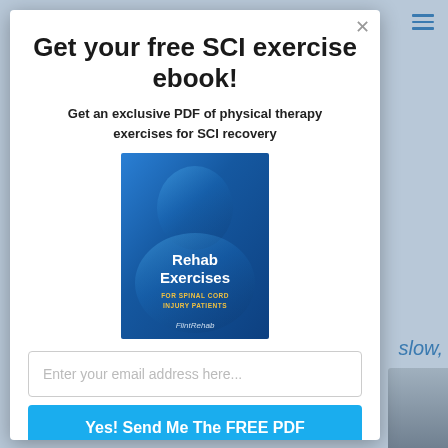Get your free SCI exercise ebook!
Get an exclusive PDF of physical therapy exercises for SCI recovery
[Figure (illustration): Book cover for 'Rehab Exercises for Spinal Cord Injury Patients' by FlintRehab, shown as a blue ebook cover with white and yellow text]
Enter your email address here...
Yes! Send Me The FREE PDF